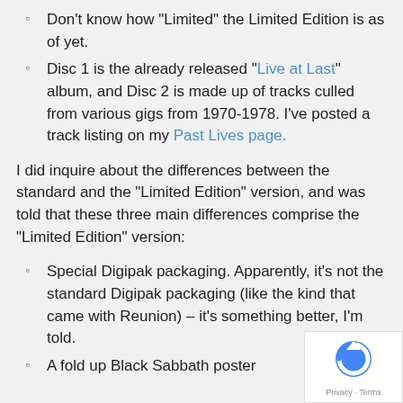Don't know how "Limited" the Limited Edition is as of yet.
Disc 1 is the already released "Live at Last" album, and Disc 2 is made up of tracks culled from various gigs from 1970-1978. I've posted a track listing on my Past Lives page.
I did inquire about the differences between the standard and the "Limited Edition" version, and was told that these three main differences comprise the "Limited Edition" version:
Special Digipak packaging. Apparently, it's not the standard Digipak packaging (like the kind that came with Reunion) – it's something better, I'm told.
A fold up Black Sabbath poster
[Figure (logo): Google reCAPTCHA badge with Privacy and Terms links]